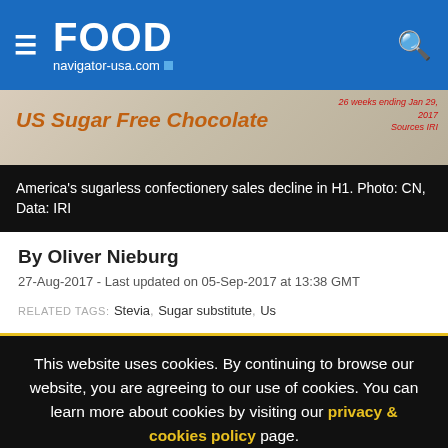FOOD navigator-usa.com
[Figure (photo): US Sugar Free Chocolate article image strip with orange italic text 'US Sugar Free Chocolate' and red source/date annotation on the right]
America's sugarless confectionery sales decline in H1. Photo: CN, Data: IRI
By Oliver Nieburg
27-Aug-2017 - Last updated on 05-Sep-2017 at 13:38 GMT
RELATED TAGS: Stevia, Sugar substitute, Us
This website uses cookies. By continuing to browse our website, you are agreeing to our use of cookies. You can learn more about cookies by visiting our privacy & cookies policy page.